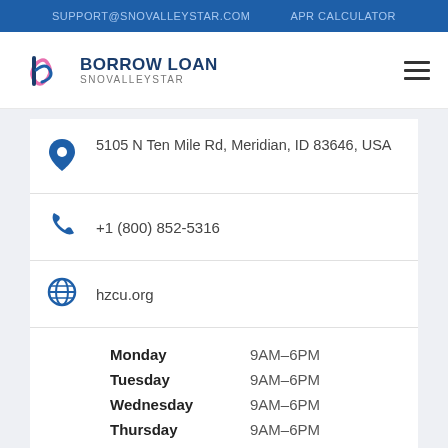SUPPORT@SNOVALLEYSTAR.COM   APR CALCULATOR
[Figure (logo): Borrow Loan Snovalleystar logo with stylized 'b' icon in blue and pink]
5105 N Ten Mile Rd, Meridian, ID 83646, USA
+1 (800) 852-5316
hzcu.org
| Day | Hours |
| --- | --- |
| Monday | 9AM–6PM |
| Tuesday | 9AM–6PM |
| Wednesday | 9AM–6PM |
| Thursday | 9AM–6PM |
| Friday | 9AM–6PM |
| Saturday | … |